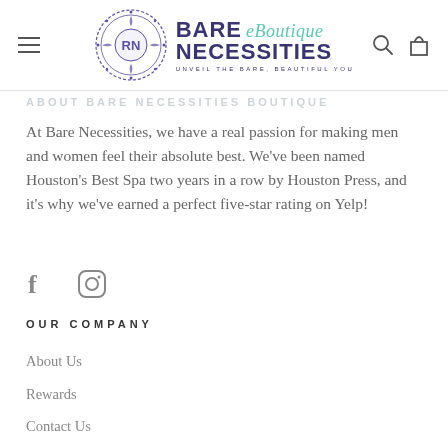[Figure (logo): Bare Necessities eBoutique logo with circular ornamental emblem and text reading BARE eBoutique NECESSITIES UNVEIL THE BARE, BEAUTIFUL YOU]
ABOUT BARE NECESSITIES BOUTIQUE
At Bare Necessities, we have a real passion for making men and women feel their absolute best. We've been named Houston's Best Spa two years in a row by Houston Press, and it's why we've earned a perfect five-star rating on Yelp!
[Figure (logo): Facebook and Instagram social media icons]
OUR COMPANY
About Us
Rewards
Contact Us